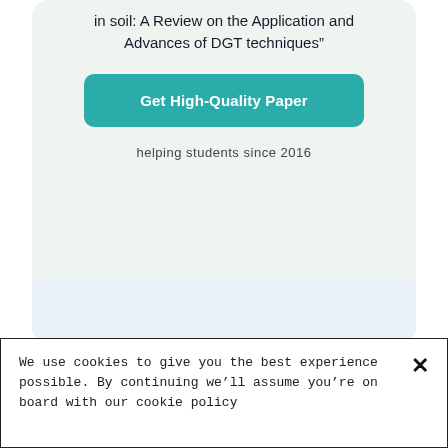in soil: A Review on the Application and Advances of DGT techniques”
Get High-Quality Paper
helping students since 2016
We use cookies to give you the best experience possible. By continuing we’ll assume you’re on board with our cookie policy